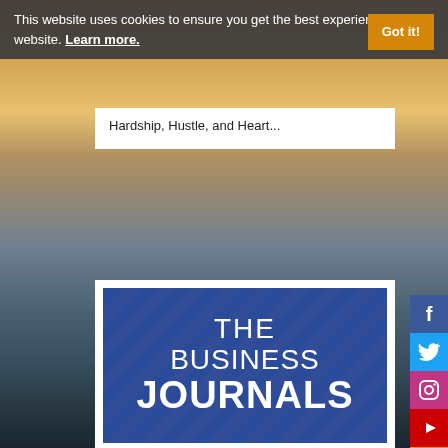This website uses cookies to ensure you get the best experience on our website. Learn more.
Got it!
Hardship, Hustle, and Heart...
[Figure (logo): The Business Journals logo on a blue diagonal-striped background with white text reading THE BUSINESS JOURNALS]
[Figure (illustration): Social media sidebar icons: Facebook (blue), Twitter (light blue), Instagram (pink), YouTube (red), RSS (orange)]